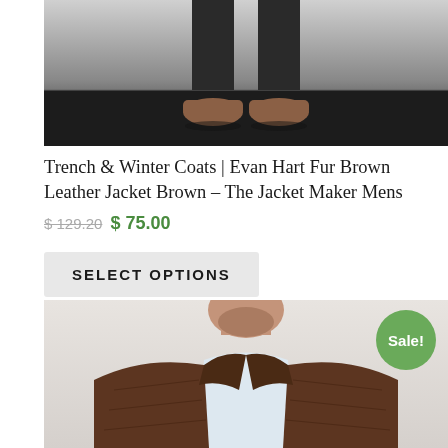[Figure (photo): Lower half of a man wearing dark trousers and brown suede shoes standing on a dark floor against a white/light background]
Trench & Winter Coats | Evan Hart Fur Brown Leather Jacket Brown – The Jacket Maker Mens
$129.20  $ 75.00
SELECT OPTIONS
[Figure (photo): Man wearing a brown distressed leather jacket over a light blue/white t-shirt, photographed from the chest up against a light grey background, with a Sale! badge overlay]